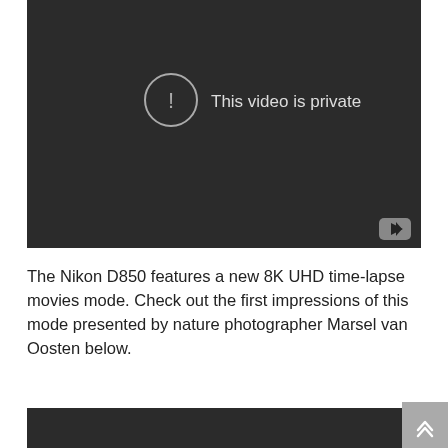[Figure (screenshot): Embedded video player showing a dark background with a circle exclamation icon and text 'This video is private', and a YouTube logo button in the bottom right corner.]
The Nikon D850 features a new 8K UHD time-lapse movies mode. Check out the first impressions of this mode presented by nature photographer Marsel van Oosten below.
[Figure (screenshot): Bottom portion of a second embedded video player with a dark background, partially visible.]